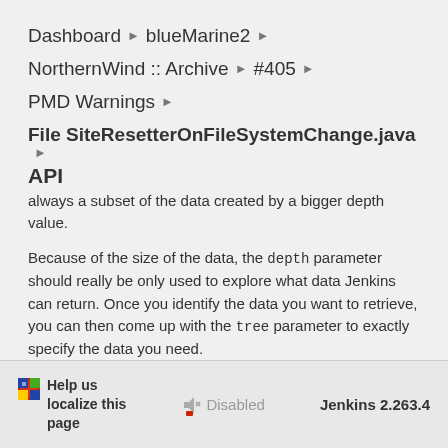Dashboard ▶ blueMarine2 ▶
NorthernWind :: Archive ▶ #405 ▶
PMD Warnings ▶
File SiteResetterOnFileSystemChange.java ▶
API
always a subset of the data created by a bigger depth value.
Because of the size of the data, the depth parameter should really be only used to explore what data Jenkins can return. Once you identify the data you want to retrieve, you can then come up with the tree parameter to exactly specify the data you need.
Help us localize this page   Disabled   Jenkins 2.263.4